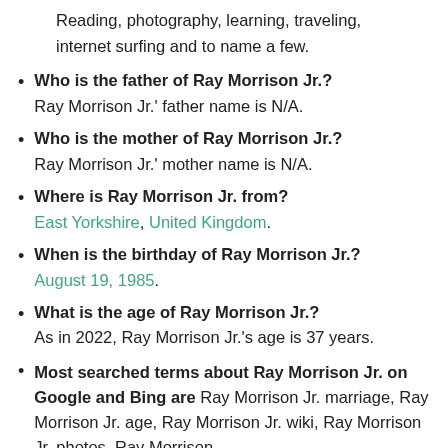Reading, photography, learning, traveling, internet surfing and to name a few.
Who is the father of Ray Morrison Jr.? Ray Morrison Jr.' father name is N/A.
Who is the mother of Ray Morrison Jr.? Ray Morrison Jr.' mother name is N/A.
Where is Ray Morrison Jr. from? East Yorkshire, United Kingdom.
When is the birthday of Ray Morrison Jr.? August 19, 1985.
What is the age of Ray Morrison Jr.? As in 2022, Ray Morrison Jr.'s age is 37 years.
Most searched terms about Ray Morrison Jr. on Google and Bing are Ray Morrison Jr. marriage, Ray Morrison Jr. age, Ray Morrison Jr. wiki, Ray Morrison Jr. photos, Ray Morrison